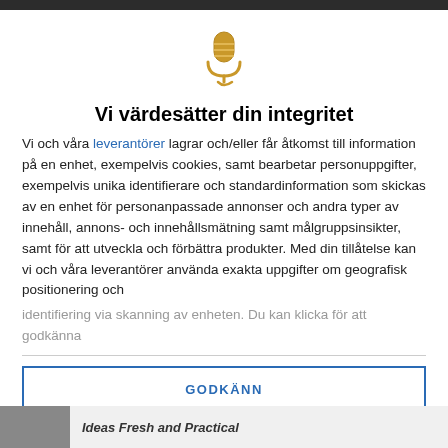[Figure (illustration): Golden microphone icon with a stylized cord/stand]
Vi värdesätter din integritet
Vi och våra leverantörer lagrar och/eller får åtkomst till information på en enhet, exempelvis cookies, samt bearbetar personuppgifter, exempelvis unika identifierare och standardinformation som skickas av en enhet för personanpassade annonser och andra typer av innehåll, annons- och innehållsmätning samt målgruppsinsikter, samt för att utveckla och förbättra produkter. Med din tillåtelse kan vi och våra leverantörer använda exakta uppgifter om geografisk positionering och identifiering via skanning av enheten. Du kan klicka för att godkänna
GODKÄNN
FLER ALTERNATIV
Ideas Fresh and Practical